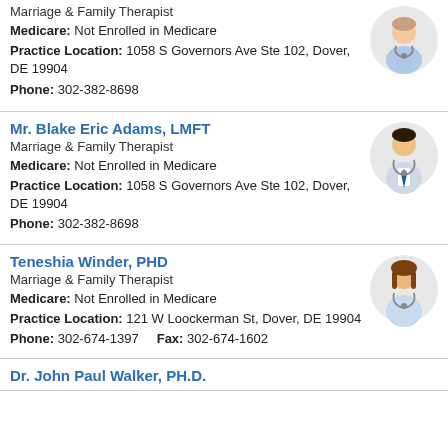Marriage & Family Therapist
Medicare: Not Enrolled in Medicare
Practice Location: 1058 S Governors Ave Ste 102, Dover, DE 19904
Phone: 302-382-8698
[Figure (illustration): Female doctor avatar icon with stethoscope]
Mr. Blake Eric Adams, LMFT
Marriage & Family Therapist
Medicare: Not Enrolled in Medicare
Practice Location: 1058 S Governors Ave Ste 102, Dover, DE 19904
Phone: 302-382-8698
[Figure (illustration): Male doctor avatar icon with stethoscope and blue tie]
Teneshia Winder, PHD
Marriage & Family Therapist
Medicare: Not Enrolled in Medicare
Practice Location: 121 W Loockerman St, Dover, DE 19904
Phone: 302-674-1397    Fax: 302-674-1602
[Figure (illustration): Female doctor avatar icon with brown hair and stethoscope]
Dr. John Paul Walker, PH.D.